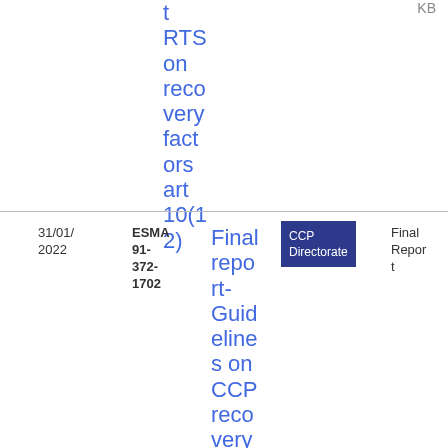t RTS on recovery factors art 10(12)
KB
| Date | Reference | Title | Category | Type | File |
| --- | --- | --- | --- | --- | --- |
| 31/01/2022 | ESMA 91-372-1702 | Final report- Guidelines on CCP recovery plan indic | CCP Directorate | Final Report | PDF 527.18 KB |